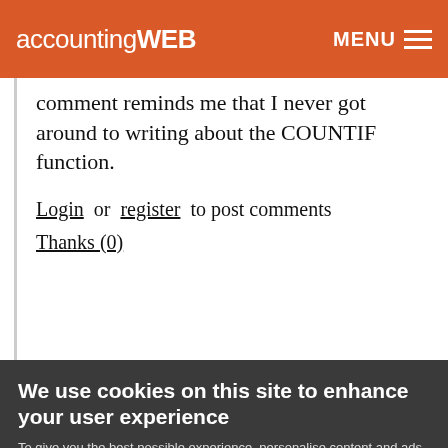accountingWEB | MENU
comment reminds me that I never got around to writing about the COUNTIF function.
Log in or register to post comments
Thanks (0)
We use cookies on this site to enhance your user experience
To give you the best possible experience, personalise content and ads, this site uses Cookies. Continuing to use the site you agree we may place these cookies on your device. You can view our Privacy Policy for more details.
No, give me more info
OK, I agree
of part numbers in Inventory by region, sub region, entity, I want to